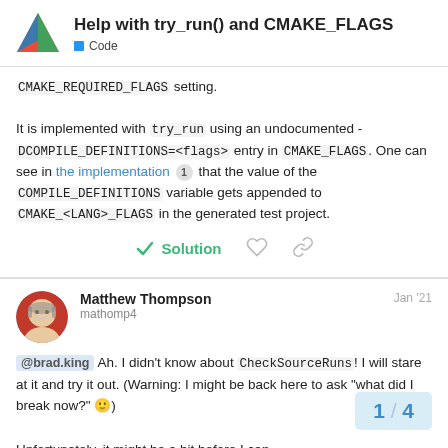Help with try_run() and CMAKE_FLAGS — Code
CMAKE_REQUIRED_FLAGS setting.

It is implemented with try_run using an undocumented -DCOMPILE_DEFINITIONS=<flags> entry in CMAKE_FLAGS. One can see in the implementation [1] that the value of the COMPILE_DEFINITIONS variable gets appended to CMAKE_<LANG>_FLAGS in the generated test project.
✓ Solution
Matthew Thompson
mathomp4
Jan '21
@brad.king Ah. I didn't know about CheckSourceRuns! I will stare at it and try it out. (Warning: I might be back here to ask "what did I break now?" 🙂)

Unfortunately, it might be a bit before I can